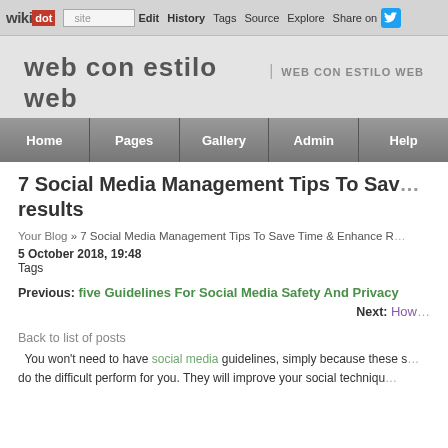wikidot | site | Edit | History | Tags | Source | Explore | Share on [Twitter]
web con estilo web | WEB CON ESTILO WEB
Home | Pages | Gallery | Admin | Help
7 Social Media Management Tips To Save Time & Enhance results
Your Blog » 7 Social Media Management Tips To Save Time & Enhance R…
5 October 2018, 19:48
Tags
Previous: five Guidelines For Social Media Safety And Privacy
Next: How…
Back to list of posts
You won't need to have social media guidelines, simply because these s… do the difficult perform for you. They will improve your social techniqu…